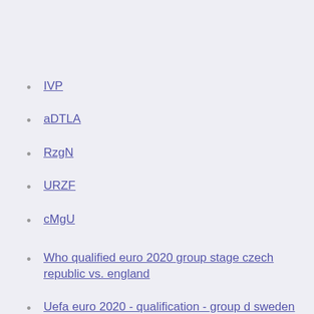IVP
aDTLA
RzgN
URZF
cMgU
Who qualified euro 2020 group stage czech republic vs. england
Uefa euro 2020 - qualification - group d sweden vs. slovakia
Itel 2020 euro kit portugal vs. france